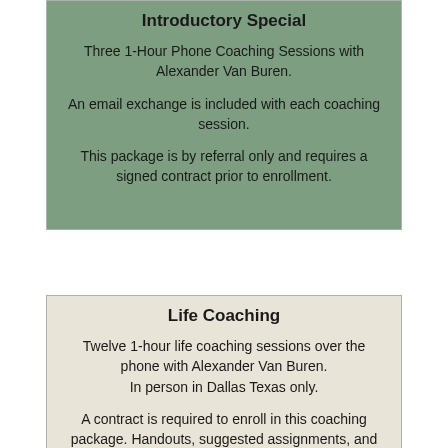Introductory Special
Three 1-Hour Phone Coaching Sessions with Alexander Van Buren.
An email exchange is included with each coaching session.
This package is by referral only and requires a signed contract prior to enrollment.
Life Coaching
Twelve 1-hour life coaching sessions over the phone with Alexander Van Buren. In person in Dallas Texas only.
A contract is required to enroll in this coaching package. Handouts, suggested assignments, and